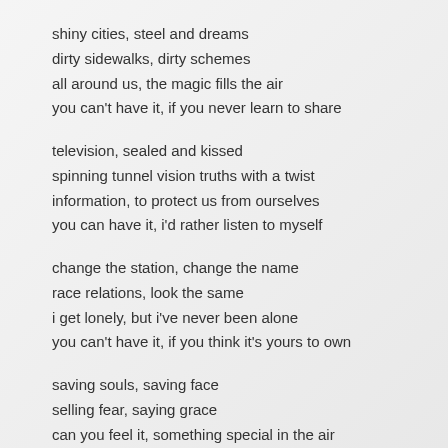shiny cities, steel and dreams
dirty sidewalks, dirty schemes
all around us, the magic fills the air
you can't have it, if you never learn to share
television, sealed and kissed
spinning tunnel vision truths with a twist
information, to protect us from ourselves
you can have it, i'd rather listen to myself
change the station, change the name
race relations, look the same
i get lonely, but i've never been alone
you can't have it, if you think it's yours to own
saving souls, saving face
selling fear, saying grace
can you feel it, something special in the air
you can't have it, if you don't believe it's there
second nature, second rate
second coming, seconds late